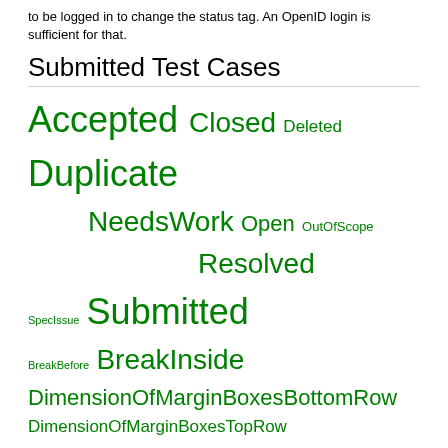to be logged in to change the status tag. An OpenID login is sufficient for that.
Submitted Test Cases
[Figure (infographic): Tag cloud with green words of varying sizes: Accepted, Closed, Deleted, Duplicate, NeedsWork, Open, OutOfScope, Resolved, SpecIssue, Submitted, BreakBefore, BreakInside, DimensionOfMarginBoxesBottomRow, DimensionOfMarginBoxesTopRow, ImageOrientation, Images, MarginBoxes, Orphans, PageBreaks, PageProperties, PageSize, Widows]
Filtered by status=NeedsWork & group=MarginBoxes
Show all (remove filter/sort)
| Submission | ↓ Status | Authors | Groups | URL |
| --- | --- | --- | --- | --- |
| Nothing found |  |  |  |  |